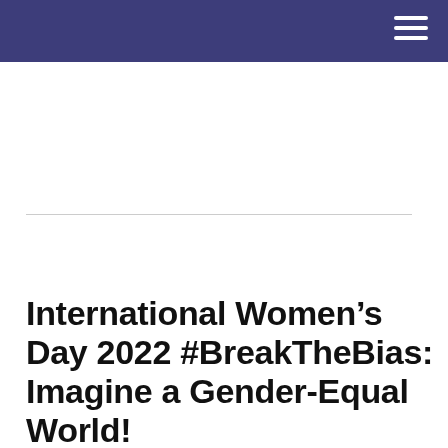International Women’s Day 2022 #BreakTheBias: Imagine a Gender-Equal World!
March 4, 2022